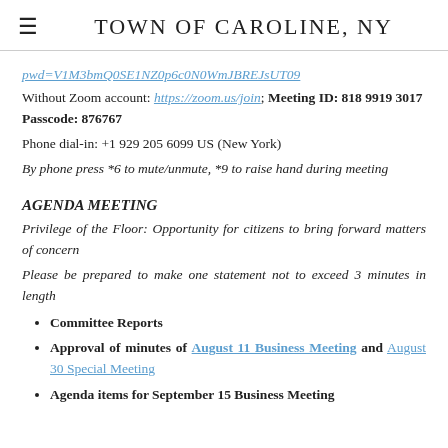TOWN OF CAROLINE, NY
pwd=V1M3bmQ0SE1NZ0p6c0N0WmJBREJsUT09
Without Zoom account: https://zoom.us/join; Meeting ID: 818 9919 3017  Passcode: 876767
Phone dial-in: +1 929 205 6099 US (New York)
By phone press *6 to mute/unmute, *9 to raise hand during meeting
AGENDA MEETING
Privilege of the Floor: Opportunity for citizens to bring forward matters of concern
Please be prepared to make one statement not to exceed 3 minutes in length
Committee Reports
Approval of minutes of August 11 Business Meeting and August 30 Special Meeting
Agenda items for September 15 Business Meeting